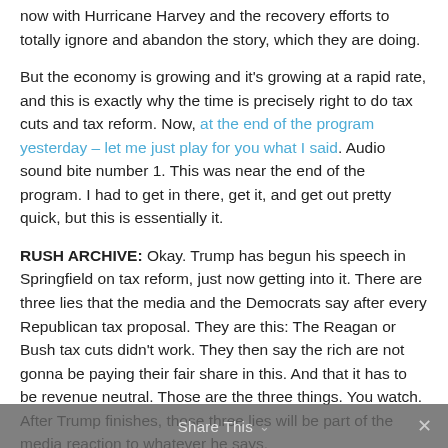now with Hurricane Harvey and the recovery efforts to totally ignore and abandon the story, which they are doing.
But the economy is growing and it's growing at a rapid rate, and this is exactly why the time is precisely right to do tax cuts and tax reform. Now, at the end of the program yesterday – let me just play for you what I said. Audio sound bite number 1. This was near the end of the program. I had to get in there, get it, and get out pretty quick, but this is essentially it.
RUSH ARCHIVE: Okay. Trump has begun his speech in Springfield on tax reform, just now getting into it. There are three lies that the media and the Democrats say after every Republican tax proposal. They are this: The Reagan or Bush tax cuts didn't work. They then say the rich are not gonna be paying their fair share in this. And that it has to be revenue neutral. Those are the three things. You watch. After Trump finishes, those three lies will be part of the media reaction to whatever he says.
Share This